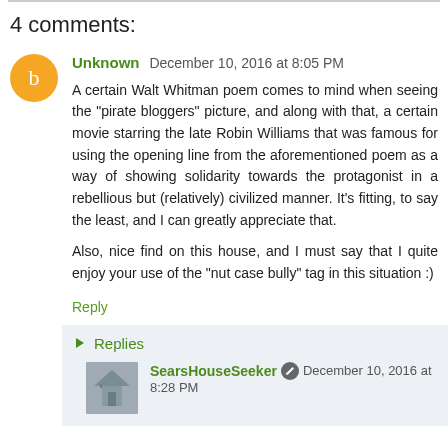4 comments:
Unknown December 10, 2016 at 8:05 PM
A certain Walt Whitman poem comes to mind when seeing the "pirate bloggers" picture, and along with that, a certain movie starring the late Robin Williams that was famous for using the opening line from the aforementioned poem as a way of showing solidarity towards the protagonist in a rebellious but (relatively) civilized manner. It's fitting, to say the least, and I can greatly appreciate that.

Also, nice find on this house, and I must say that I quite enjoy your use of the "nut case bully" tag in this situation :)
Reply
Replies
SearsHouseSeeker December 10, 2016 at 8:28 PM